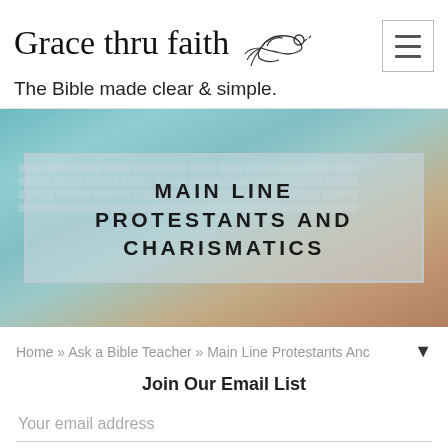Grace thru faith — The Bible made clear & simple.
[Figure (screenshot): Hero banner image showing a laptop keyboard with a coffee cup, overlaid with a semi-transparent box containing the article title text 'MAIN LINE PROTESTANTS AND CHARISMATICS']
MAIN LINE PROTESTANTS AND CHARISMATICS
Home » Ask a Bible Teacher » Main Line Protestants Anc
Join Our Email List
Your email address
Subscribe